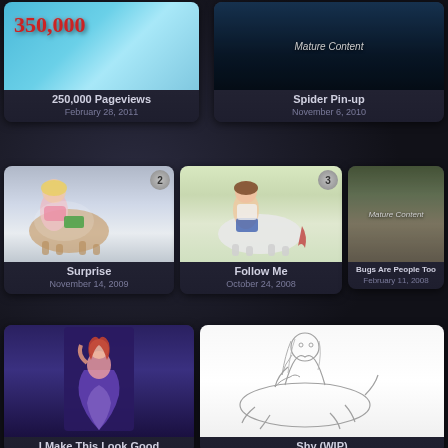[Figure (illustration): 250,000 Pageviews artwork with anime girl and red number text on blue background]
250,000 Pageviews
February 28, 2011
[Figure (illustration): Spider Pin-up mature content blurred image on dark background]
Spider Pin-up
November 6, 2010
[Figure (illustration): Surprise - centaur illustration with badge number 2, anime style girl centaur on grey background]
Surprise
November 14, 2009
[Figure (illustration): Follow Me - centaur illustration with badge number 3, girl on white horse centaur on green background]
Follow Me
October 24, 2008
[Figure (illustration): Bugs Are People Too - mature content blurred fantasy figure image]
Bugs Are People Too
February 11, 2008
[Figure (illustration): I Make This Look Good - mermaid figure on purple/blue background]
I Make This Look Good
[Figure (illustration): Shy (WIP) - pencil sketch of a sitting centaur girl on white background]
Shy (WIP)